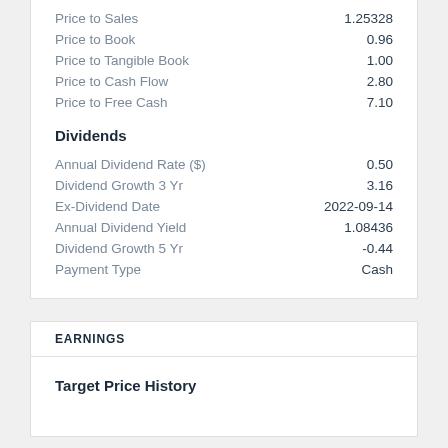Price to Sales: 1.25328
Price to Book: 0.96
Price to Tangible Book: 1.00
Price to Cash Flow: 2.80
Price to Free Cash: 7.10
Dividends
Annual Dividend Rate ($): 0.50
Dividend Growth 3 Yr: 3.16
Ex-Dividend Date: 2022-09-14
Annual Dividend Yield: 1.08436
Dividend Growth 5 Yr: -0.44
Payment Type: Cash
EARNINGS
Target Price History